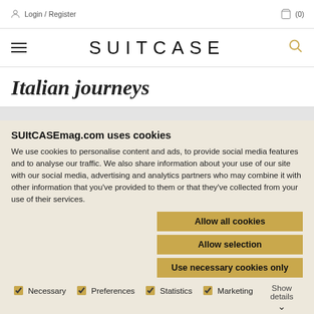Login / Register  (0)
SUITCASE
Italian journeys
SUItCASEmag.com uses cookies
We use cookies to personalise content and ads, to provide social media features and to analyse our traffic. We also share information about your use of our site with our social media, advertising and analytics partners who may combine it with other information that you've provided to them or that they've collected from your use of their services.
Allow all cookies
Allow selection
Use necessary cookies only
Necessary  Preferences  Statistics  Marketing  Show details